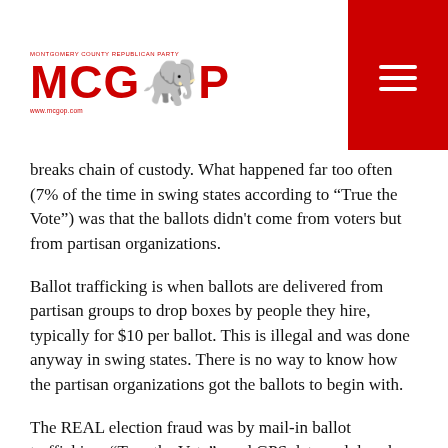[Figure (logo): MCGOP (Montgomery County Republican Party) logo in red with hamburger menu button on red background]
breaks chain of custody.  What happened far too often (7% of the time in swing states according to “True the Vote”) was that the ballots didn't come from voters but from partisan organizations.
Ballot trafficking is when ballots are delivered from partisan groups to drop boxes by people they hire, typically for $10 per ballot.  This is illegal and was done anyway in swing states.  There is no way to know how the partisan organizations got the ballots to begin with.
The REAL election fraud was by mail-in ballot trafficking. “True the Vote” used GPS data and drop box video to match people to drop box locations. They identified cell phones that got within licking distance of multiple drop boxes and scrutinized what they were doing. There have been fact checks of the evidence from True the Vote. To